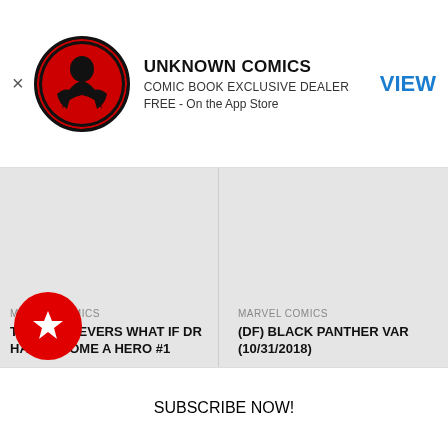[Figure (logo): Unknown Comics circular logo with red background and black comic character silhouette]
UNKNOWN COMICS
COMIC BOOK EXCLUSIVE DEALER
FREE - On the App Store
VIEW
[Figure (screenshot): Gray placeholder area showing two comic book product panels]
MARVEL COMICS
TRUE BELIEVERS WHAT IF DR HAD BECOME A HERO #1
MARVEL COMICS
(DF) BLACK PANTHER VAR (10/31/2018)
SUBSCRIBE NOW!